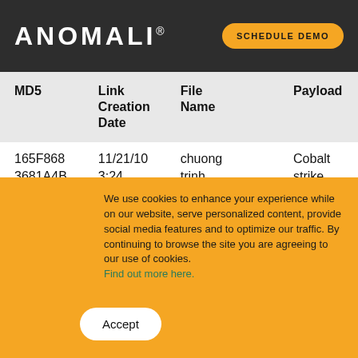Table 1 – Analyzed Samples
ANOMALI® | SCHEDULE DEMO
| MD5 | Link Creation Date | File Name | Payload |
| --- | --- | --- | --- |
| 165F868 3681A4B 136BE1F 9D6EA7 | 11/21/10 3:24 | chuong trinh dang huong.doc.lnk | Cobalt strike |
We use cookies to enhance your experience while on our website, serve personalized content, provide social media features and to optimize our traffic. By continuing to browse the site you are agreeing to our use of cookies. Find out more here.
Accept